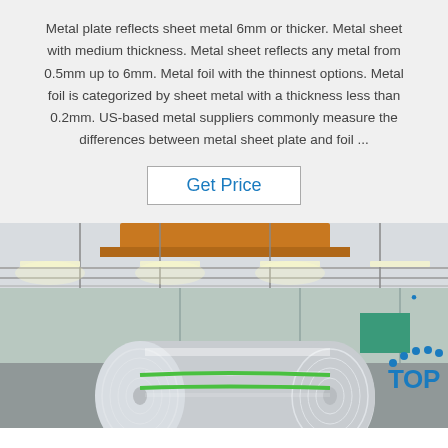Metal plate reflects sheet metal 6mm or thicker. Metal sheet with medium thickness. Metal sheet reflects any metal from 0.5mm up to 6mm. Metal foil with the thinnest options. Metal foil is categorized by sheet metal with a thickness less than 0.2mm. US-based metal suppliers commonly measure the differences between metal sheet plate and foil ...
Get Price
[Figure (photo): Industrial warehouse/factory interior showing large rolls of sheet metal (coils) on the floor, with overhead crane and fluorescent lighting visible. A 'TOP' badge/watermark with blue dots appears in the bottom-right corner.]